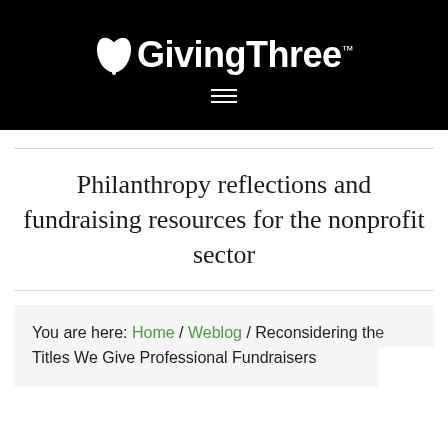GivingThree™
Philanthropy reflections and fundraising resources for the nonprofit sector
You are here: Home / Weblog / Reconsidering the Titles We Give Professional Fundraisers